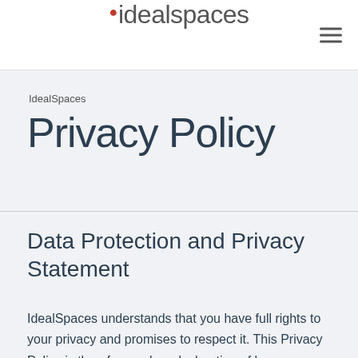idealspaces
IdealSpaces
Privacy Policy
Data Protection and Privacy Statement
IdealSpaces understands that you have full rights to your privacy and promises to respect it. This Privacy Policy is therefore a clear declaration of how IdealSpaces collects collects, uses, maintains and discloses information that has been collected from each users that reaches our website